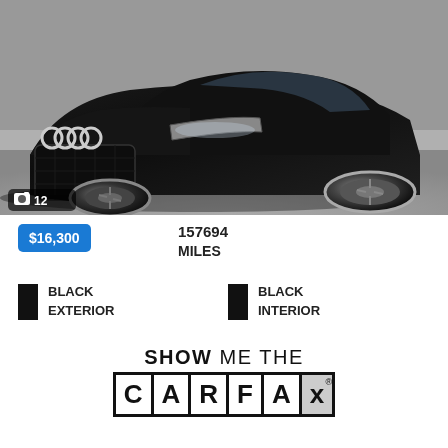[Figure (photo): Black Audi car front view, photo counter badge showing camera icon and '12' in bottom left corner]
$16,300
157694
MILES
BLACK EXTERIOR
BLACK INTERIOR
[Figure (logo): SHOW ME THE CARFAX logo with bold CARFAX in a bordered box with registered trademark symbol]